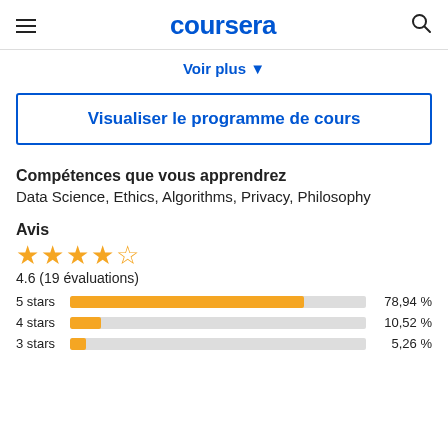coursera
Voir plus ▼
Visualiser le programme de cours
Compétences que vous apprendrez
Data Science, Ethics, Algorithms, Privacy, Philosophy
Avis
[Figure (bar-chart): Ratings breakdown]